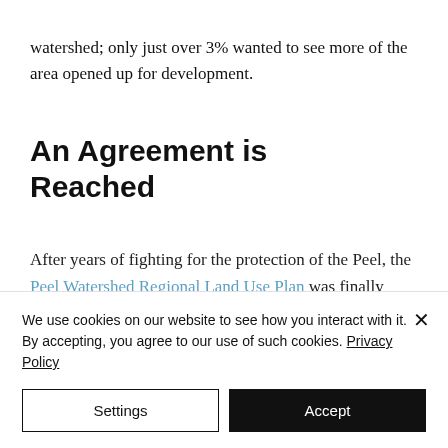watershed; only just over 3% wanted to see more of the area opened up for development.
An Agreement is Reached
After years of fighting for the protection of the Peel, the Peel Watershed Regional Land Use Plan was finally approved and signed by the five ...on August 2019
We use cookies on our website to see how you interact with it. By accepting, you agree to our use of such cookies. Privacy Policy